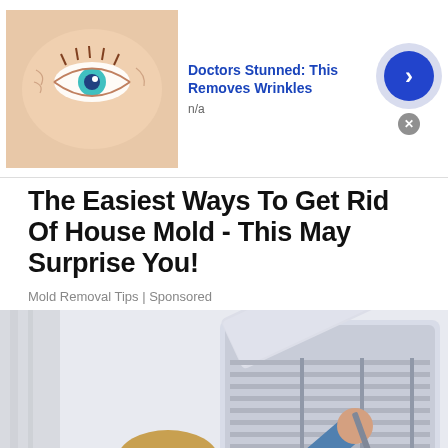[Figure (advertisement): Ad banner at top: eye close-up thumbnail, 'Doctors Stunned: This Removes Wrinkles', n/a, blue arrow button, close X]
The Easiest Ways To Get Rid Of House Mold - This May Surprise You!
Mold Removal Tips | Sponsored
[Figure (photo): Photo of a man servicing/inspecting a wall-mounted air conditioning unit, opening the unit cover to reveal interior fins]
[Figure (advertisement): Ad banner at bottom: eye close-up thumbnail, 'Doctors Stunned: This Removes Wrinkles', n/a, blue arrow button, close X]